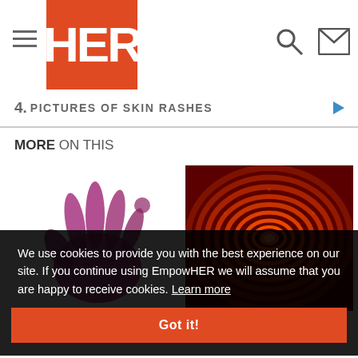HER
4. PICTURES OF SKIN RASHES
MORE ON THIS
[Figure (photo): Purple handprint on white background]
[Figure (photo): Red glowing tunnel or circular structure]
The Mystery of the Purple Finger... Could Have C...
What is Henoch-
We use cookies to provide you with the best experience on our site. If you continue using EmpowHER we will assume that you are happy to receive cookies. Learn more
Got it!